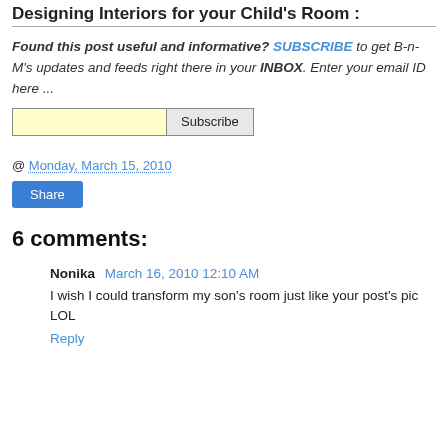Designing Interiors for your Child's Room :
Found this post useful and informative? SUBSCRIBE to get B-n-M's updates and feeds right there in your INBOX. Enter your email ID here ...
@ Monday, March 15, 2010
Share
6 comments:
Nonika  March 16, 2010 12:10 AM
I wish I could transform my son's room just like your post's pic LOL
Reply